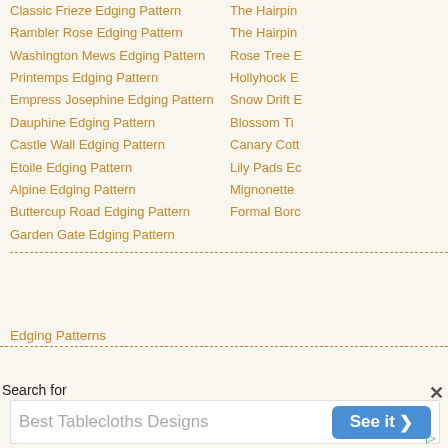Classic Frieze Edging Pattern
Rambler Rose Edging Pattern
Washington Mews Edging Pattern
Printemps Edging Pattern
Empress Josephine Edging Pattern
Dauphine Edging Pattern
Castle Wall Edging Pattern
Etoile Edging Pattern
Alpine Edging Pattern
Buttercup Road Edging Pattern
Garden Gate Edging Pattern
The Hairpin
The Hairpin
Rose Tree E
Hollyhock E
Snow Drift E
Blossom Ti
Canary Cott
Lily Pads Ec
Mignonette
Formal Borc
Edging Patterns
Search for
Best Tablecloths Designs
See it ›